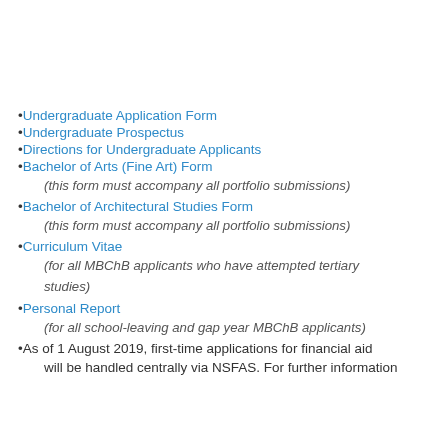Undergraduate Application Form
Undergraduate Prospectus
Directions for Undergraduate Applicants
Bachelor of Arts (Fine Art) Form
(this form must accompany all portfolio submissions)
Bachelor of Architectural Studies Form
(this form must accompany all portfolio submissions)
Curriculum Vitae
(for all MBChB applicants who have attempted tertiary studies)
Personal Report
(for all school-leaving and gap year MBChB applicants)
As of 1 August 2019, first-time applications for financial aid will be handled centrally via NSFAS. For further information